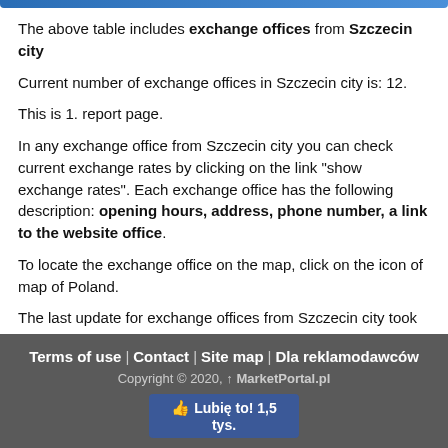The above table includes exchange offices from Szczecin city
Current number of exchange offices in Szczecin city is: 12.
This is 1. report page.
In any exchange office from Szczecin city you can check current exchange rates by clicking on the link "show exchange rates". Each exchange office has the following description: opening hours, address, phone number, a link to the website office.
To locate the exchange office on the map, click on the icon of map of Poland.
The last update for exchange offices from Szczecin city took place at 5/5/2022 12:15:10 PM.
Terms of use | Contact | Site map | Dla reklamodawców
Copyright © 2020, ↑ MarketPortal.pl
Lubię to! 1,5 tys.